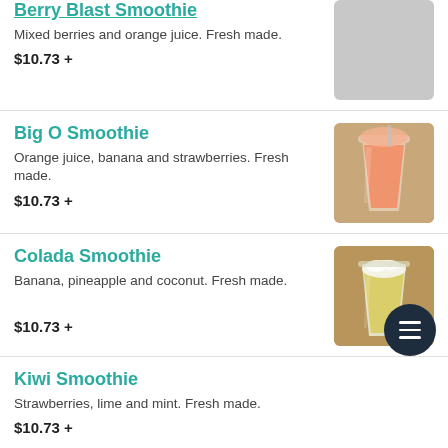Berry Blast Smoothie
Mixed berries and orange juice. Fresh made.
$10.73 +
Big O Smoothie
Orange juice, banana and strawberries. Fresh made.
$10.73 +
Colada Smoothie
Banana, pineapple and coconut. Fresh made.
$10.73 +
Kiwi Smoothie
Strawberries, lime and mint. Fresh made.
$10.73 +